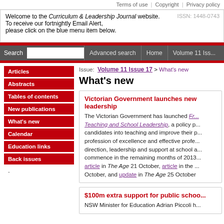Terms of use  |  Copyright  |  Privacy policy
Welcome to the Curriculum & Leadership Journal website.
To receive our fortnightly Email Alert,
please click on the blue menu item below.
ISSN: 1448-0743
Search  [input]  Advanced search  Home  Volume 11 Iss...
Articles
Abstracts
Tables of contents
New publications
What's new
Calendar
Education links
Back issues
Issue: Volume 11 Issue 17 > What's new
What's new
Victorian Government launches new leadership
The Victorian Government has launched Fr... Teaching and School Leadership, a policy p... candidates into teaching and improve their p... profession of excellence and effective profe... direction, leadership and support at school a... commence in the remaining months of 2013... article in The Age 21 October, article in the ... October, and update in The Age 25 October
$100m extra support for public schoo...
NSW Minister for Education Adrian Piccoli h...